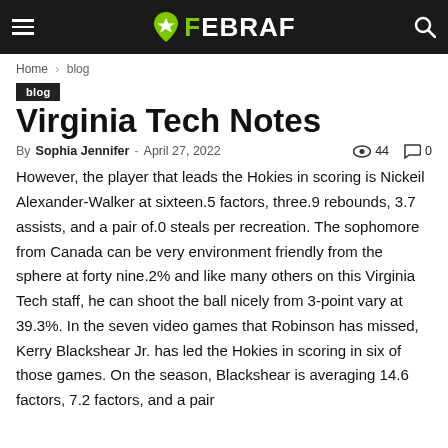FEBRAF
Home › blog
blog
Virginia Tech Notes
By Sophia Jennifer - April 27, 2022  44  0
However, the player that leads the Hokies in scoring is Nickeil Alexander-Walker at sixteen.5 factors, three.9 rebounds, 3.7 assists, and a pair of.0 steals per recreation. The sophomore from Canada can be very environment friendly from the sphere at forty nine.2% and like many others on this Virginia Tech staff, he can shoot the ball nicely from 3-point vary at 39.3%. In the seven video games that Robinson has missed, Kerry Blackshear Jr. has led the Hokies in scoring in six of those games. On the season, Blackshear is averaging 14.6 factors, 7.2 factors, and a pair